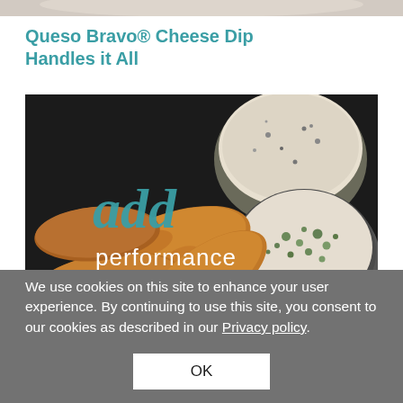[Figure (photo): Cropped top portion of cheese dip product photo]
Queso Bravo® Cheese Dip Handles it All
[Figure (photo): Food photography showing fried chicken wings/tenders with two bowls of dipping sauce (blue cheese and ranch) on a dark background, overlaid with teal script 'add' and white text 'performance']
We use cookies on this site to enhance your user experience. By continuing to use this site, you consent to our cookies as described in our Privacy policy.
OK